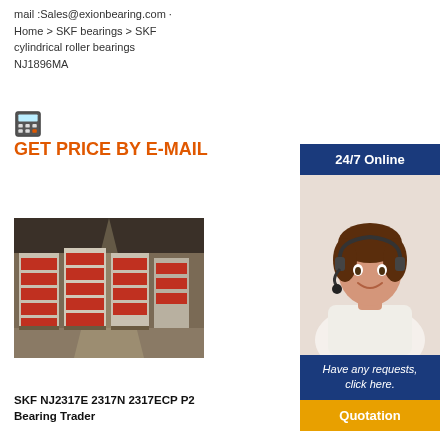mail :Sales@exionbearing.com · Home > SKF bearings > SKF cylindrical roller bearings NJ1896MA
GET PRICE BY E-MAIL
[Figure (screenshot): 24/7 Online support widget with agent photo, 'Have any requests, click here.' text, and Quotation button]
[Figure (photo): Warehouse interior with stacked red-labeled bearing boxes on pallets]
SKF NJ2317E 2317N 2317ECP P2 Bearing Trader